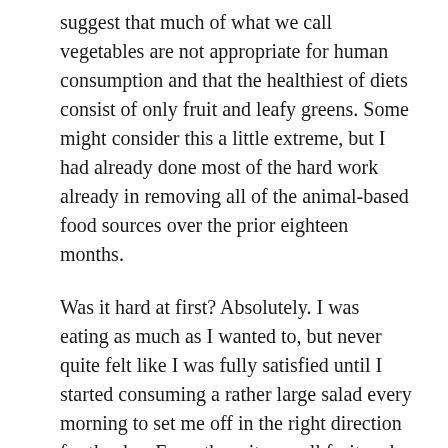suggest that much of what we call vegetables are not appropriate for human consumption and that the healthiest of diets consist of only fruit and leafy greens. Some might consider this a little extreme, but I had already done most of the hard work already in removing all of the animal-based food sources over the prior eighteen months.
Was it hard at first? Absolutely. I was eating as much as I wanted to, but never quite felt like I was fully satisfied until I started consuming a rather large salad every morning to set me off in the right direction for the day. From there it was all fruit and some occasional nuts until the evening. And what I can say for sure is that this way of eating is just what the doctor ordered. It really helped my body move to the next level of health and overall hygiene. But then there came a point where my body felt like something was missing. I began to suspect